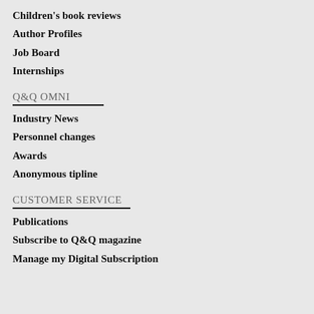Children's book reviews
Author Profiles
Job Board
Internships
Q&Q OMNI
Industry News
Personnel changes
Awards
Anonymous tipline
CUSTOMER SERVICE
Publications
Subscribe to Q&Q magazine
Manage my Digital Subscription